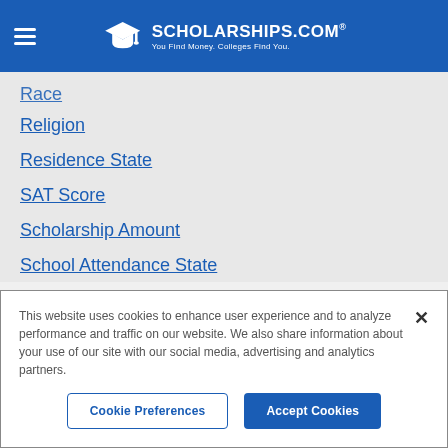SCHOLARSHIPS.COM® — You Find Money. Colleges Find You.
Race
Religion
Residence State
SAT Score
Scholarship Amount
School Attendance State
School Year
This website uses cookies to enhance user experience and to analyze performance and traffic on our website. We also share information about your use of our site with our social media, advertising and analytics partners.